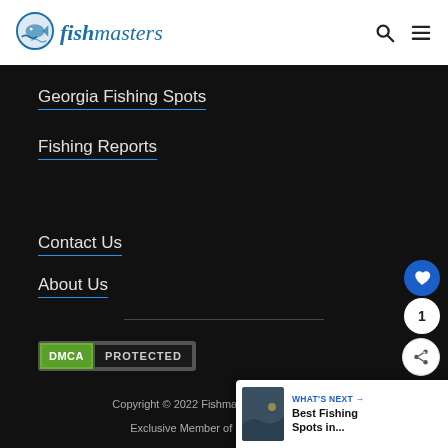fishmasters
Georgia Fishing Spots
Fishing Reports
Contact Us
About Us
[Figure (logo): DMCA PROTECTED badge]
Copyright © 2022 Fishmasters | Privacy | Te...
Exclusive Member of Mediavine Home